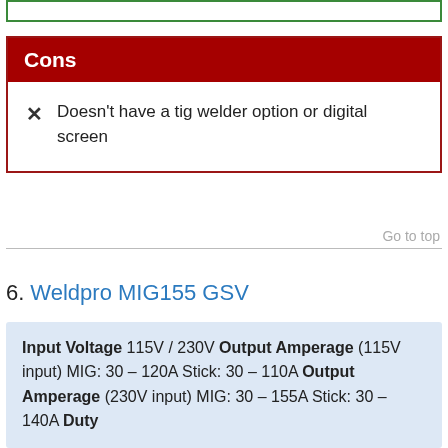Cons
Doesn't have a tig welder option or digital screen
Go to top
6. Weldpro MIG155 GSV
Input Voltage 115V / 230V Output Amperage (115V input) MIG: 30 – 120A Stick: 30 – 110A Output Amperage (230V input) MIG: 30 – 155A Stick: 30 – 140A Duty